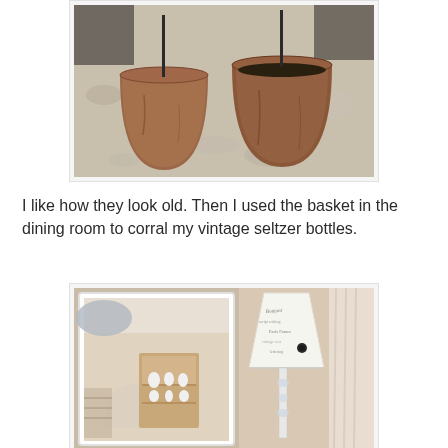[Figure (photo): Two terra cotta clay pots sitting on a granite countertop, appearing aged and weathered, with plant stakes inside them.]
I like how they look old.  Then I used the basket in the dining room to corral my vintage seltzer bottles.
[Figure (photo): Interior room photo showing a lamp with a white script-printed shade on the right, and a mirror reflecting a dining room hutch with white dishes in the background.]